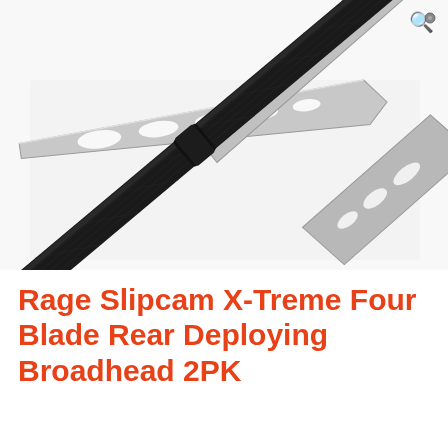[Figure (photo): Close-up photo of a Rage Slipcam X-Treme Four Blade Rear Deploying Broadhead mounted on a carbon arrow shaft. The broadhead features silver/aluminum blades with cutouts and a black central body. The arrow is shown diagonally across a white background.]
Rage Slipcam X-Treme Four Blade Rear Deploying Broadhead 2PK